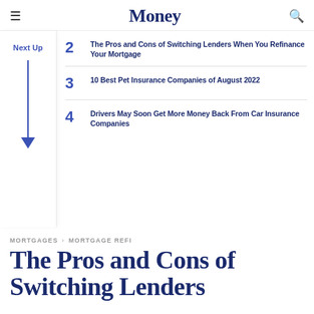Money
2 The Pros and Cons of Switching Lenders When You Refinance Your Mortgage
3 10 Best Pet Insurance Companies of August 2022
4 Drivers May Soon Get More Money Back From Car Insurance Companies
MORTGAGES > MORTGAGE REFI
The Pros and Cons of Switching Lenders